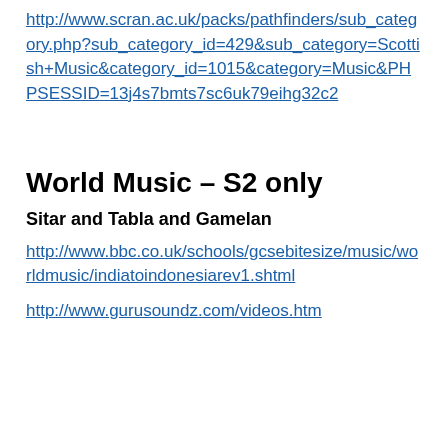http://www.scran.ac.uk/packs/pathfinders/sub_category.php?sub_category_id=429&sub_category=Scottish+Music&category_id=1015&category=Music&PHPSESSID=13j4s7bmts7sc6uk79eihg32c2
World Music – S2 only
Sitar and Tabla and Gamelan
http://www.bbc.co.uk/schools/gcsebitesize/music/worldmusic/indiatoindonesiarev1.shtml
http://www.gurusoundz.com/videos.htm